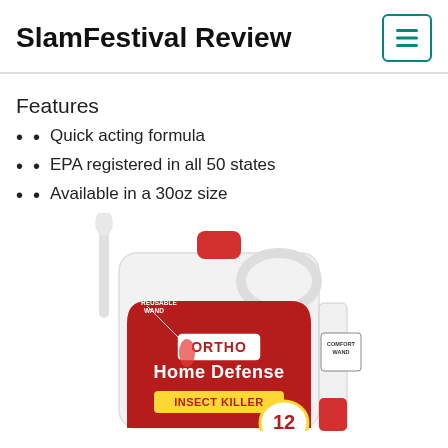SlamFestival Review
Features
Quick acting formula
EPA registered in all 50 states
Available in a 30oz size
[Figure (photo): Ortho Home Defense Insect Killer product — a large white jug with red label reading 'ORTHO Home Defense Insect Killer' with a reusable wand attached, alongside a comfort wand applicator.]